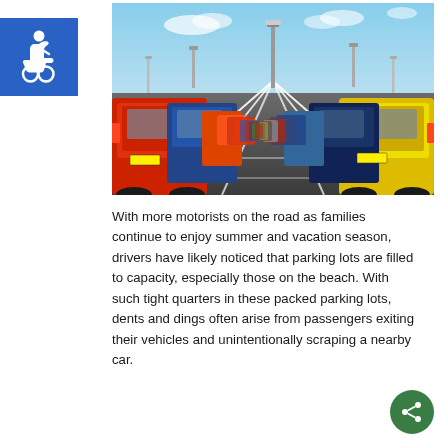[Figure (photo): Accessibility/wheelchair symbol icon on a blue square background, top left corner]
[Figure (photo): A large parking lot filled with colorful cars (red, blue, yellow, dark) parked in rows on both sides of a wide aisle, shot from a low perspective showing white parking lines converging toward the horizon under a blue sky with light clouds and street lights visible]
With more motorists on the road as families continue to enjoy summer and vacation season, drivers have likely noticed that parking lots are filled to capacity, especially those on the beach. With such tight quarters in these packed parking lots, dents and dings often arise from passengers exiting their vehicles and unintentionally scraping a nearby car.